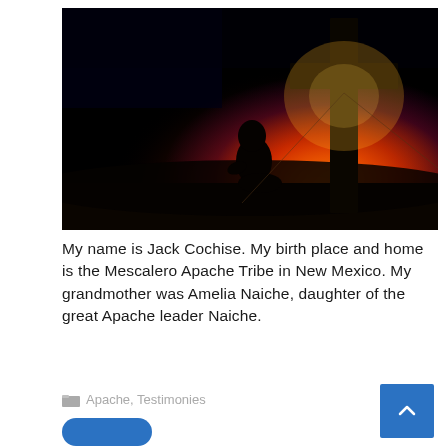[Figure (photo): Silhouette of a person kneeling in prayer beside a large cross against a dramatic orange and dark sunset sky]
My name is Jack Cochise. My birth place and home is the Mescalero Apache Tribe in New Mexico. My grandmother was Amelia Naiche, daughter of the great Apache leader Naiche.
Apache, Testimonies